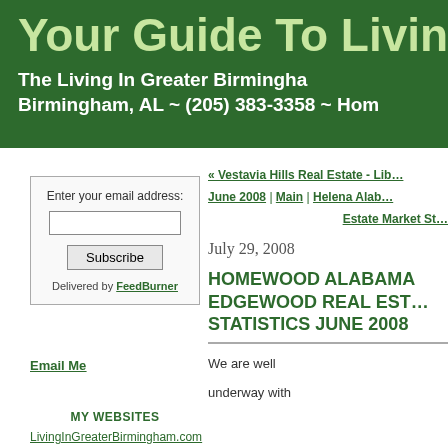Your Guide To Living | The Living In Greater Birmingham | Birmingham, AL ~ (205) 383-3358 ~ Hom...
« Vestavia Hills Real Estate - Lib...
June 2008 | Main | Helena Alab...
Estate Market St...
Enter your email address:
Subscribe
Delivered by FeedBurner
Email Me
MY WEBSITES
LivingInGreaterBirmingham.com
July 29, 2008
HOMEWOOD ALABAMA EDGEWOOD REAL ESTATE STATISTICS JUNE 2008
We are well
underway with